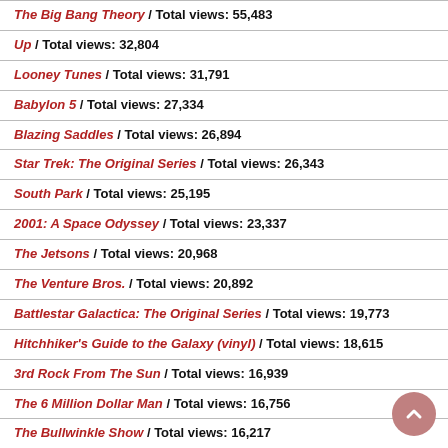The Big Bang Theory / Total views: 55,483
Up / Total views: 32,804
Looney Tunes / Total views: 31,791
Babylon 5 / Total views: 27,334
Blazing Saddles / Total views: 26,894
Star Trek: The Original Series / Total views: 26,343
South Park / Total views: 25,195
2001: A Space Odyssey / Total views: 23,337
The Jetsons / Total views: 20,968
The Venture Bros. / Total views: 20,892
Battlestar Galactica: The Original Series / Total views: 19,773
Hitchhiker's Guide to the Galaxy (vinyl) / Total views: 18,615
3rd Rock From The Sun / Total views: 16,939
The 6 Million Dollar Man / Total views: 16,756
The Bullwinkle Show / Total views: 16,217